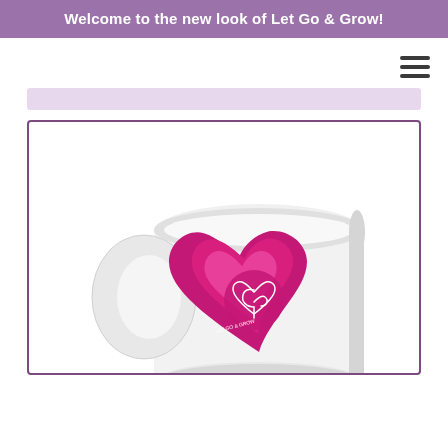Welcome to the new look of Let Go & Grow!
[Figure (photo): A white ceramic mug featuring a pink and magenta layered heart logo with a small plant/leaf icon inside the innermost heart, and text 'LET GO & GROW' curved around the icon. The mug is shown at an angle displaying the handle on the left side.]